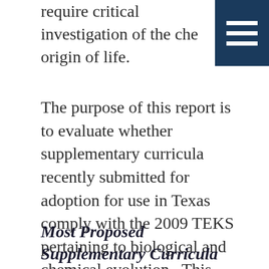require critical investigation of the che… origin of life.
[Figure (other): Dark navy blue hamburger menu icon with three white horizontal bars on dark navy background, positioned in top-right corner]
The purpose of this report is to evaluate whether supplementary curricula recently submitted for adoption for use in Texas comply with the 2009 TEKS pertaining to biological and chemical evolution.  This report only evaluates the curricula as regards the evolution-related TEKS and does not evaluate the curricula for compliance with other TEKS.
Most Proposed Supplementary Curricula Fail to Follow 2009 TEKS